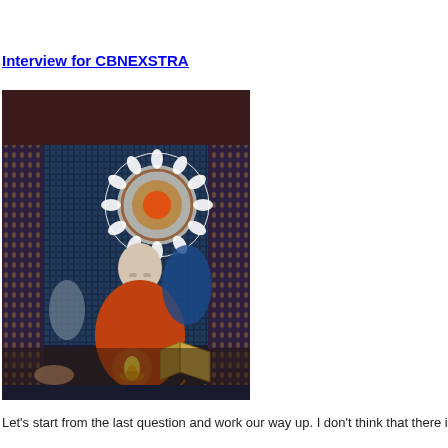Interview for CBNEXSTRA
[Figure (illustration): A surrealist painting showing a bald figure in red and blue robes seated against an ornate patterned tapestry background. There is a swirling mandala-like design above the figure, an open book on a wooden stand to the lower right, and a candle or lamp glowing at the bottom center. A hand and foot are visible at the lower left, and additional masked or draped figures appear in the background.]
Let's start from the last question and work our way up. I don't think that there i